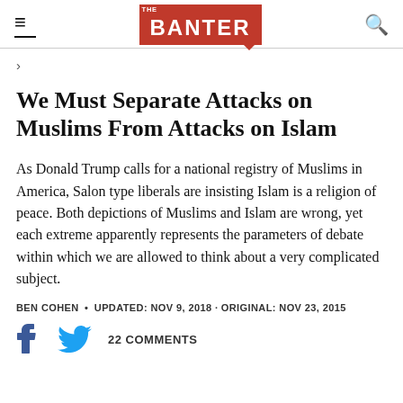THE DAILY BANTER
>
We Must Separate Attacks on Muslims From Attacks on Islam
As Donald Trump calls for a national registry of Muslims in America, Salon type liberals are insisting Islam is a religion of peace. Both depictions of Muslims and Islam are wrong, yet each extreme apparently represents the parameters of debate within which we are allowed to think about a very complicated subject.
BEN COHEN • UPDATED: NOV 9, 2018 · ORIGINAL: NOV 23, 2015
22 COMMENTS